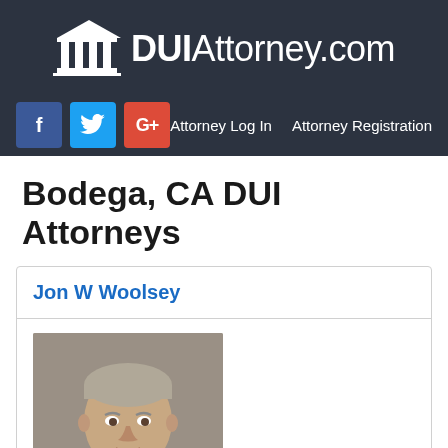DUIAttorney.com
f  Twitter  G+  Attorney Log In  Attorney Registration
Bodega, CA DUI Attorneys
Jon W Woolsey
[Figure (photo): Headshot photo of attorney Jon W Woolsey, a middle-aged man with short gray hair, facing forward, against a gray background.]